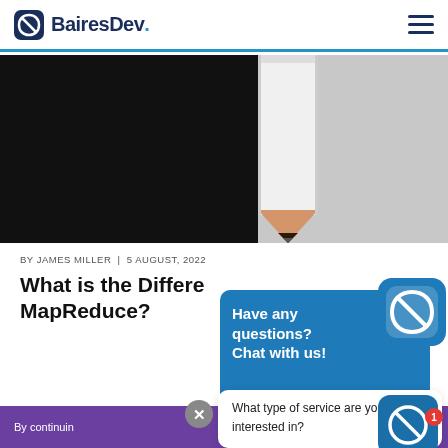BairesDev.
[Figure (photo): Close-up photo of a pencil tip against a dark/grey background]
BY JAMES MILLER | 5 AUGUST, 2022
What is the Difference... MapReduce?
[Figure (screenshot): Chat widget popup with BairesDev logo saying 'Have any questions? Chat with us!' and a message 'What type of service are you interested in?']
By continuin...
What type of service are you interested in?